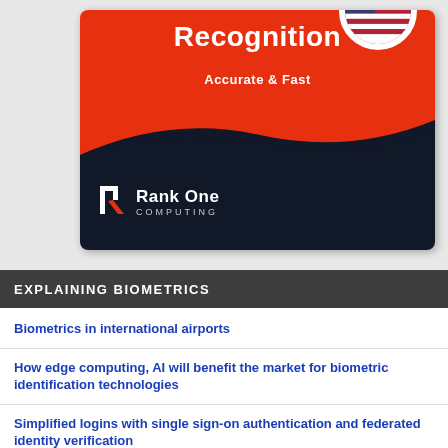[Figure (illustration): Rank One Computing banner with red top section showing 'Recognition Accurate & Fast', a US flag circle, and dark bottom section with Rank One Computing logo on grey background]
EXPLAINING BIOMETRICS
Biometrics in international airports
How edge computing, AI will benefit the market for biometric identification technologies
Simplified logins with single sign-on authentication and federated identity verification
Biometric template explainer
What is Biometric Identification?